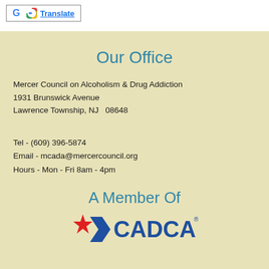[Figure (logo): Google Translate button with Google G logo and 'Translate' text in blue underlined]
Our Office
Mercer Council on Alcoholism & Drug Addiction
1931 Brunswick Avenue
Lawrence Township, NJ  08648
Tel - (609) 396-5874
Email - mcada@mercercouncil.org
Hours - Mon - Fri 8am - 4pm
A Member Of
[Figure (logo): CADCA logo with red star and blue arrow/chevron design followed by CADCA text with registered trademark symbol]